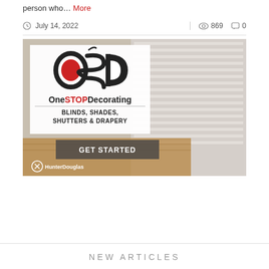person who… More
July 14, 2022   869   0
[Figure (illustration): OneSTOP Decorating advertisement banner showing OSD logo with blinds/window background. Text: BLINDS, SHADES, SHUTTERS & DRAPERY. GET STARTED button. HunterDouglas logo at bottom left.]
NEW ARTICLES